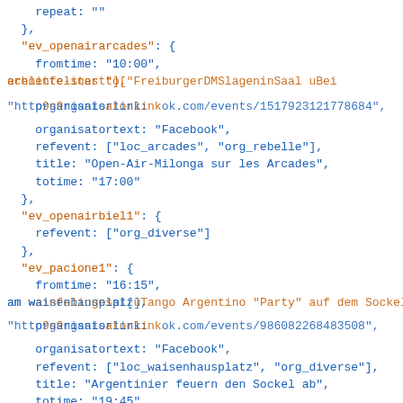JSON/code block showing event data with keys ev_openairarcades, ev_openairbiel1, ev_pacione1, ev_pacione2 and their properties including fromtime, totime, title, refevent, organisatorlink, organisatortext